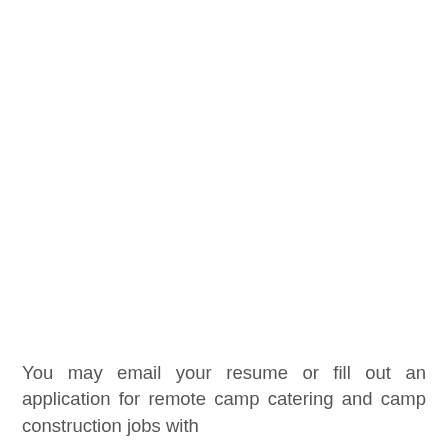You may email your resume or fill out an application for remote camp catering and camp construction jobs with